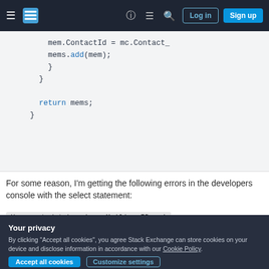Stack Exchange navigation bar with hamburger menu, logo, help, chat, search icons, Log in and Sign up buttons
[Figure (screenshot): Code block showing mem.ContactId = mc.Contact_, mems.add(mem);, closing braces, and return mems;]
For some reason, I'm getting the following errors in the developers console with the select statement:
Unexpected token 'cmp.Mailing_ID__c'
expecting a colon, found...
Your privacy
By clicking "Accept all cookies", you agree Stack Exchange can store cookies on your device and disclose information in accordance with our Cookie Policy.
Accept all cookies   Customize settings